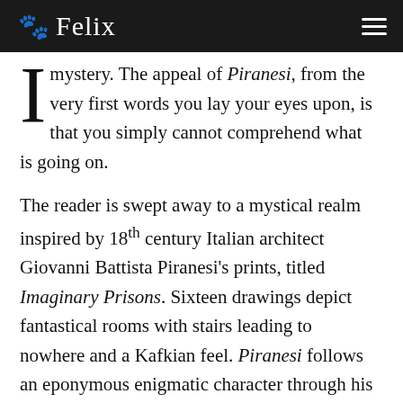Felix
mystery. The appeal of Piranesi, from the very first words you lay your eyes upon, is that you simply cannot comprehend what is going on.
The reader is swept away to a mystical realm inspired by 18th century Italian architect Giovanni Battista Piranesi's prints, titled Imaginary Prisons. Sixteen drawings depict fantastical rooms with stairs leading to nowhere and a Kafkian feel. Piranesi follows an eponymous enigmatic character through his diary entries documenting the rooms of a palace